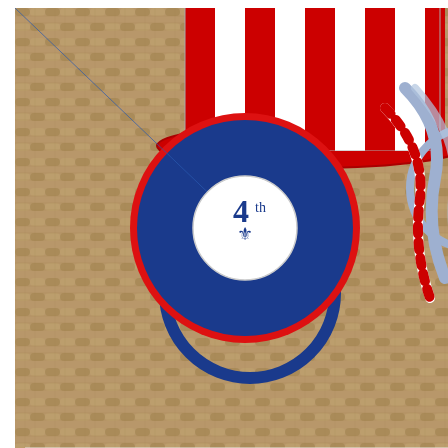[Figure (photo): A 4th of July Uncle Sam hat craft made from red and white striped fabric/paper, decorated with a blue pleated rosette/cockade featuring '4th' monogram in the center circle, sitting on a wicker/rattan surface. The bottom portion shows a white banner/pennant overlay with decorative text reading '4th of JULY {UNCLE SAM HAT}' in blue and red colors.]